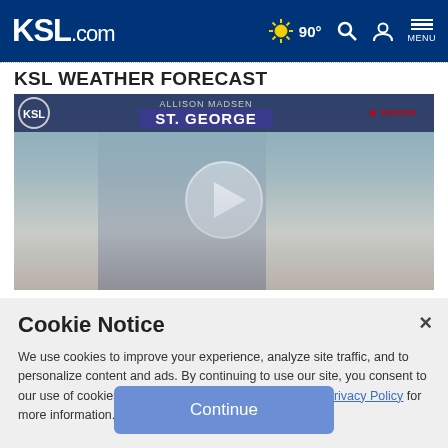KSL.com | 90° | Search | Account | Menu
KSL WEATHER FORECAST
[Figure (screenshot): Video thumbnail showing a male weather forecaster in a suit standing in front of a weather map with 'ALLISON MADSEN ST. GEORGE' displayed and a Toyota logo. A white play button circle is overlaid in the center.]
Cookie Notice
We use cookies to improve your experience, analyze site traffic, and to personalize content and ads. By continuing to use our site, you consent to our use of cookies. Please visit our Terms of Use and  Privacy Policy for more information.
Continue